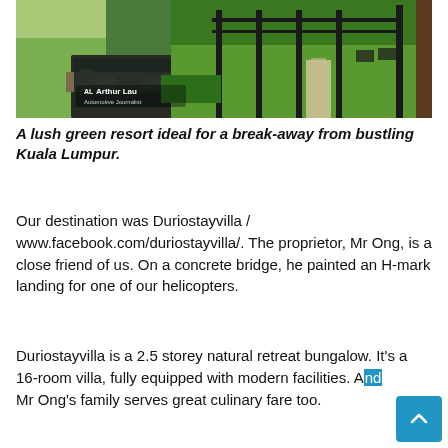[Figure (photo): A lush green garden resort scene with a koi pond surrounded by stones, lawn, wooden pergola structures, outdoor chairs, and trees. Watermark reads 'Arthur Lau' in lower left corner.]
A lush green resort ideal for a break-away from bustling Kuala Lumpur.
Our destination was Duriostayvilla / www.facebook.com/duriostayvilla/. The proprietor, Mr Ong, is a close friend of us. On a concrete bridge, he painted an H-mark landing for one of our helicopters.
Duriostayvilla is a 2.5 storey natural retreat bungalow. It's a 16-room villa, fully equipped with modern facilities. And Mr Ong's family serves great culinary fare too.